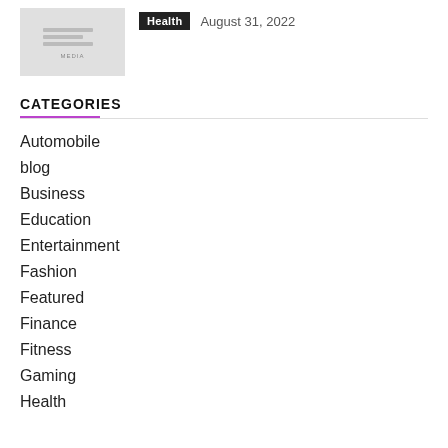[Figure (photo): Thumbnail image with gray background showing stacked lines and small label text]
Health   August 31, 2022
CATEGORIES
Automobile
blog
Business
Education
Entertainment
Fashion
Featured
Finance
Fitness
Gaming
Health